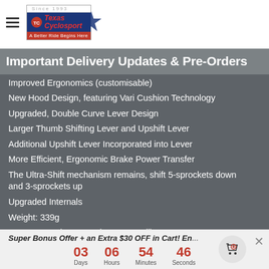Texas Cyclosport — Since 1993 — A Better Ride Begins Here
Important Delivery Updates & Pre-Orders
Improved Ergonomics (customisable)
New Hood Design, featuring Vari Cushion Technology
Upgraded, Double Curve Lever Design
Larger Thumb Shifting Lever and Upshift Lever
Additional Upshift Lever Incorporated into Lever
More Efficient, Ergonomic Brake Power Transfer
The Ultra-Shift mechanism remains, shift 5-sprockets down and 3-sprockets up
Upgraded Internals
Weight: 339g
Super Record 12 Speed Front Derailleur:
New Design builds upon Rev1+ mechanical success
Super Bonus Offer + an Extra $30 OFF in Cart! End...
03 Days  06 Hours  54 Minutes  46 Seconds